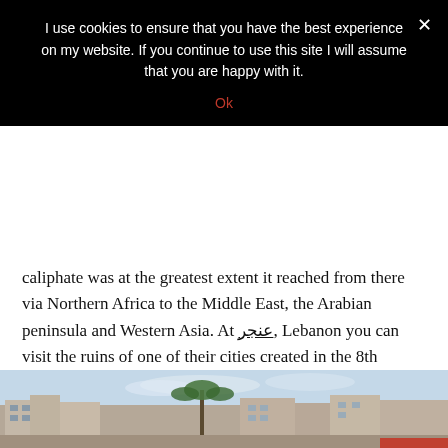I use cookies to ensure that you have the best experience on my website. If you continue to use this site I will assume that you are happy with it.
Ok
caliphate was at the greatest extent it reached from there via Northern Africa to the Middle East, the Arabian peninsula and Western Asia. At عنجر, Lebanon you can visit the ruins of one of their cities created in the 8th century – which is today a UNESCO world heritage site.
Continue reading
DECEMBER 22, 2019
Byblos
[Figure (photo): Exterior cityscape photo of Byblos, Lebanon, showing buildings and a palm tree against a blue sky with clouds]